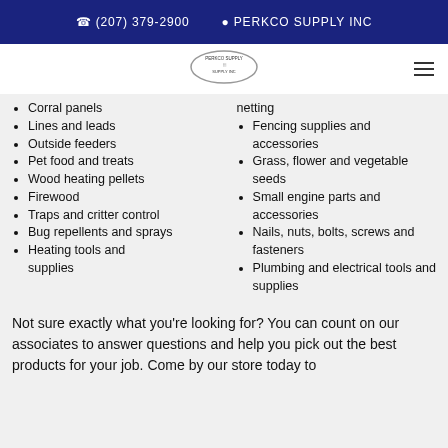(207) 379-2900  PERKCO SUPPLY INC
[Figure (logo): Perkco Supply oval logo with tractor icon]
Corral panels
Lines and leads
Outside feeders
Pet food and treats
Wood heating pellets
Firewood
Traps and critter control
Bug repellents and sprays
Heating tools and supplies
netting
Fencing supplies and accessories
Grass, flower and vegetable seeds
Small engine parts and accessories
Nails, nuts, bolts, screws and fasteners
Plumbing and electrical tools and supplies
Not sure exactly what you're looking for? You can count on our associates to answer questions and help you pick out the best products for your job. Come by our store today to